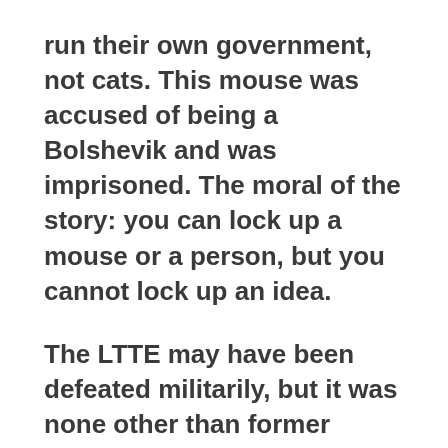run their own government, not cats. This mouse was accused of being a Bolshevik and was imprisoned. The moral of the story: you can lock up a mouse or a person, but you cannot lock up an idea.
The LTTE may have been defeated militarily, but it was none other than former President Chandrika Bandaranaike who boldly stated that the LTTE was only the symptom and not the disease. The Tamils have a problem which will continue even after the LTTE is defeated, she declared after surviving an assassination attempt on her. The present and future rulers should remember and address the